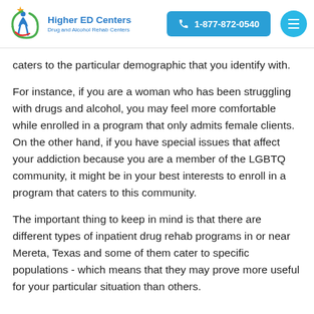Higher ED Centers | Drug and Alcohol Rehab Centers | 1-877-872-0540
caters to the particular demographic that you identify with.
For instance, if you are a woman who has been struggling with drugs and alcohol, you may feel more comfortable while enrolled in a program that only admits female clients. On the other hand, if you have special issues that affect your addiction because you are a member of the LGBTQ community, it might be in your best interests to enroll in a program that caters to this community.
The important thing to keep in mind is that there are different types of inpatient drug rehab programs in or near Mereta, Texas and some of them cater to specific populations - which means that they may prove more useful for your particular situation than others.